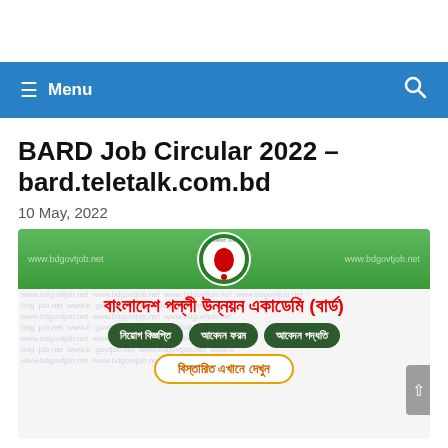≡ Menu  🔍
BARD Job Circular 2022 – bard.teletalk.com.bd
10 May, 2022
[Figure (infographic): BARD job circular promotional banner with Bangladesh government seal on green background, Bengali text reading 'বাংলাদেশ পল্লী উন্নয়ন একাডেমি (বার্ড)', three dark green buttons labeled 'নিয়োগ বিজ্ঞপ্তি', 'আবেদন ফরম', 'আবেদন পদ্ধতি', and a detail button reading 'বিস্তারিত এখানে দেখুন'. Watermark text www.bdgovtjob.net repeated throughout.]